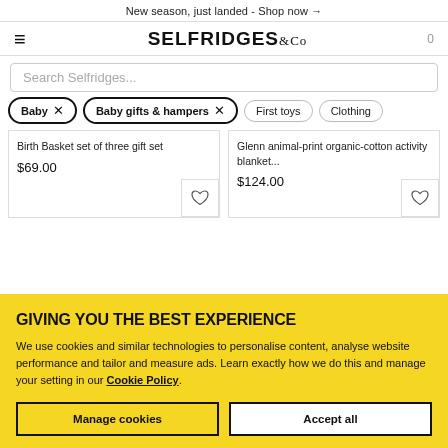New season, just landed - Shop now →
[Figure (logo): Selfridges & Co logo with hamburger menu and cart icon 0]
Search Selfridges...
Baby ×
Baby gifts & hampers ×
First toys
Clothing
Birth Basket set of three gift set
$69.00
Glenn animal-print organic-cotton activity blanket...
$124.00
GIVING YOU THE BEST EXPERIENCE
We use cookies and similar technologies to personalise content, analyse website performance and tailor and measure ads. Learn exactly how we do this and manage your setting in our Cookie Policy.
Manage cookies
Accept all